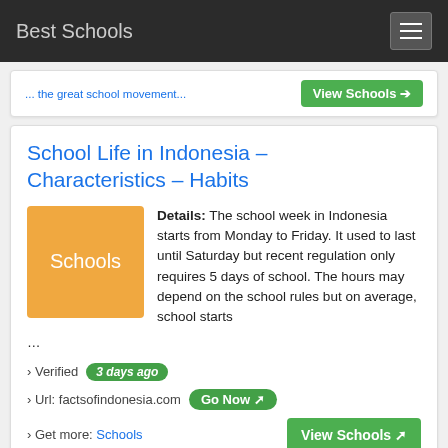Best Schools
... the great school movement ... View Schools
School Life in Indonesia – Characteristics – Habits
[Figure (illustration): Orange square thumbnail with white text 'Schools']
Details: The school week in Indonesia starts from Monday to Friday. It used to last until Saturday but recent regulation only requires 5 days of school. The hours may depend on the school rules but on average, school starts ...
› Verified  3 days ago
› Url: factsofindonesia.com  Go Now
› Get more:  Schools  View Schools